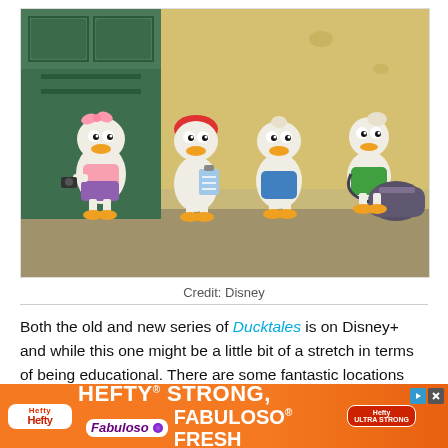[Figure (illustration): Cartoon illustration from DuckTales animated series showing four duck characters: a female duck with a pink bow and purple skirt holding a camera on the left, a duck with a red cap holding a clipboard in the center-left, a duck in a blue shirt in the center-right, and a duck in a green outfit carrying a large duffel bag on the right. Background shows a green train car and sandy/rocky wall.]
Credit: Disney
Both the old and new series of Ducktales is on Disney+ and while this one might be a little bit of a stretch in terms of being educational. There are some fantastic locations featured throughout the series alongside some
[Figure (other): Advertisement banner for Hefty and Fabuloso products. Orange background with Hefty logo on the left, large white bold text reading 'HEFTY STRONG, FABULOSO FRESH' in the center, and Hefty product image on the right. Ad controls (arrow and X) in top-right corner.]